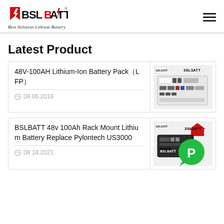BSLBATT - Best Solution Lithium Battery
Latest Product
48V-100AH Lithium-Ion Battery Pack（LFP）
08 06.2018
[Figure (photo): White rack-mounted 48V 100AH lithium-ion LFP battery pack unit with BSLBATT branding]
BSLBATT 48v 100Ah Rack Mount Lithium Battery Replace Pylontech US3000
08 18.2021
[Figure (photo): Black rack-mount lithium battery with BSLBATT branding and green chat bubble overlay with letter P]